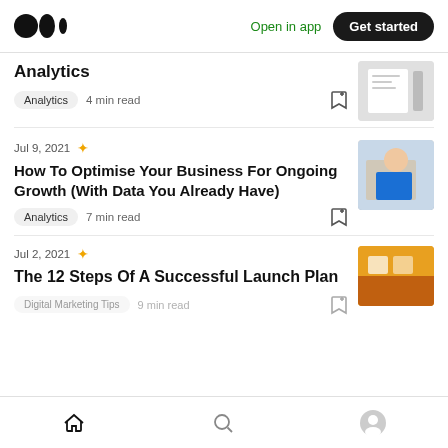Medium logo | Open in app | Get started
Analytics
Analytics  4 min read
Jul 9, 2021
How To Optimise Your Business For Ongoing Growth (With Data You Already Have)
Analytics  7 min read
Jul 2, 2021
The 12 Steps Of A Successful Launch Plan
Digital Marketing Tips  9 min read
Home | Search | Profile